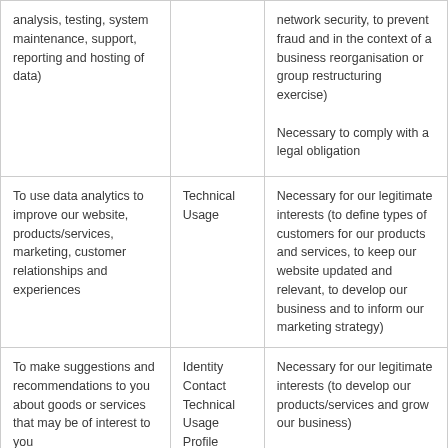| analysis, testing, system maintenance, support, reporting and hosting of data) |  | network security, to prevent fraud and in the context of a business reorganisation or group restructuring exercise)
Necessary to comply with a legal obligation |
| To use data analytics to improve our website, products/services, marketing, customer relationships and experiences | Technical
Usage | Necessary for our legitimate interests (to define types of customers for our products and services, to keep our website updated and relevant, to develop our business and to inform our marketing strategy) |
| To make suggestions and recommendations to you about goods or services that may be of interest to you | Identity
Contact
Technical
Usage
Profile | Necessary for our legitimate interests (to develop our products/services and grow our business) |
| To perform our services to | Identity | Performance of a contract with |